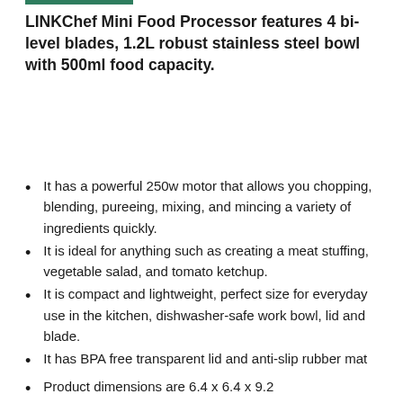LINKChef Mini Food Processor features 4 bi-level blades, 1.2L robust stainless steel bowl with 500ml food capacity.
It has a powerful 250w motor that allows you chopping, blending, pureeing, mixing, and mincing a variety of ingredients quickly.
It is ideal for anything such as creating a meat stuffing, vegetable salad, and tomato ketchup.
It is compact and lightweight, perfect size for everyday use in the kitchen, dishwasher-safe work bowl, lid and blade.
It has BPA free transparent lid and anti-slip rubber mat
Product dimensions are 6.4 x 6.4 x 9.2